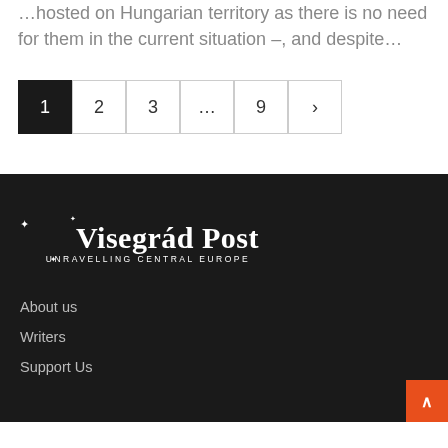…hosted on Hungarian territory as there is no need for them in the current situation –, and despite…
1
2
3
…
9
›
[Figure (logo): Visegrád Post – Unravelling Central Europe logo in white on dark background]
About us
Writers
Support Us